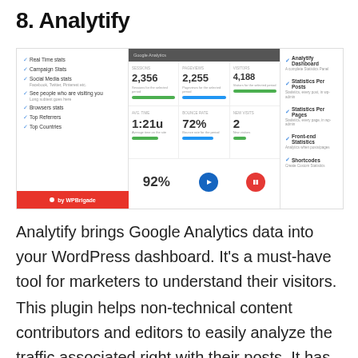8. Analytify
[Figure (screenshot): Screenshot of the Analytify WordPress plugin dashboard showing stats panels including values 2,356, 2,255, 4,188, plus percentage and metric displays, left feature list and right feature list including Analytify Dashboard, Statistics Per Posts, Statistics Per Pages, Front-end Statistics, Shortcodes, and a WPBrigade badge.]
Analytify brings Google Analytics data into your WordPress dashboard. It’s a must-have tool for marketers to understand their visitors.
This plugin helps non-technical content contributors and editors to easily analyze the traffic associated right with their posts. It has a one-click setup and gets you running within one minute.